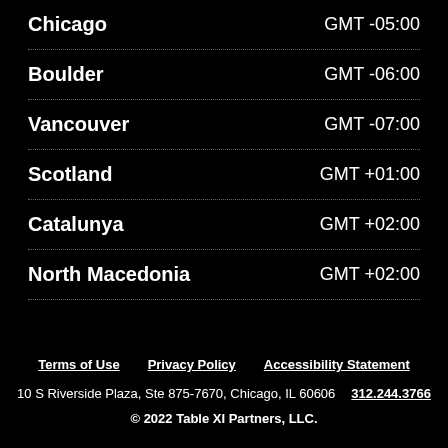Chicago   GMT -05:00
Boulder   GMT -06:00
Vancouver   GMT -07:00
Scotland   GMT +01:00
Catalunya   GMT +02:00
North Macedonia   GMT +02:00
Terms of Use   Privacy Policy   Accessibility Statement
10 S Riverside Plaza, Ste 875-7670, Chicago, IL 60606   312.244.3766
© 2022 Table XI Partners, LLC.